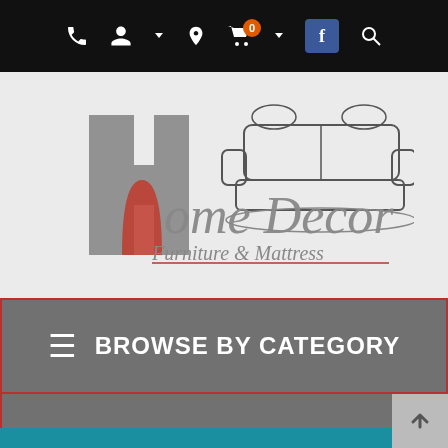Navigation bar with phone, account, location, cart (0), Facebook, and search icons
[Figure (logo): Home Decor Furniture & Mattress logo with stylized 'h' in grey and red, sofa illustration, and italic script text]
≡ BROWSE BY CATEGORY
SHOP BY BRAND